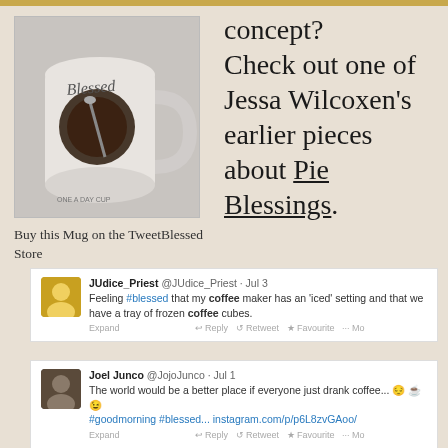[Figure (photo): A white ceramic mug with 'Blessed' text and a coffee cup graphic on it]
Buy this Mug on the TweetBlessed Store
concept? Check out one of Jessa Wilcoxen's earlier pieces about Pie Blessings.
[Figure (screenshot): Tweet from JUdice_Priest @JUdice_Priest · Jul 3: Feeling #blessed that my coffee maker has an 'iced' setting and that we have a tray of frozen coffee cubes. Expand]
[Figure (screenshot): Tweet from Joel Junco @JojoJunco · Jul 1: The world would be a better place if everyone just drank coffee... [emojis] #goodmorning #blessed... instagram.com/p/p6L8zvGAoo/ Expand]